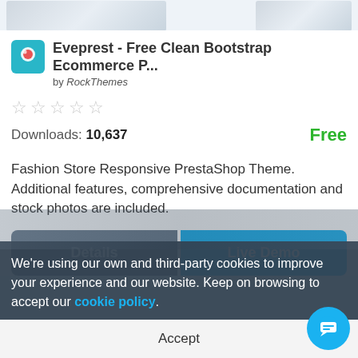[Figure (screenshot): Partially visible product/theme preview images at top of page]
Eveprest - Free Clean Bootstrap Ecommerce P...
by RockThemes
[Figure (other): Five empty star rating icons]
Downloads: 10,637
Free
Fashion Store Responsive PrestaShop Theme. Additional features, comprehensive documentation and stock photos are included.
Details
Live Demo
We're using our own and third-party cookies to improve your experience and our website. Keep on browsing to accept our cookie policy.
Accept